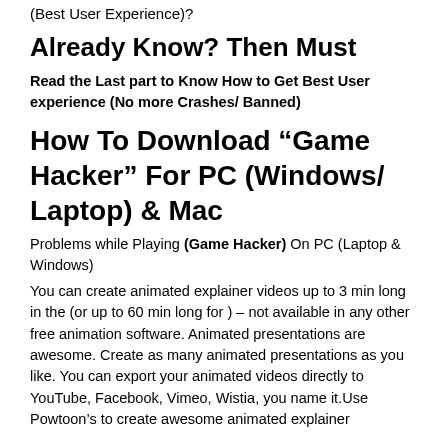(Best User Experience)?
Already Know? Then Must
Read the Last part to Know How to Get Best User experience (No more Crashes/ Banned)
How To Download “Game Hacker” For PC (Windows/ Laptop) & Mac
Problems while Playing (Game Hacker) On PC (Laptop & Windows)
You can create animated explainer videos up to 3 min long in the (or up to 60 min long for ) – not available in any other free animation software. Animated presentations are awesome. Create as many animated presentations as you like. You can export your animated videos directly to YouTube, Facebook, Vimeo, Wistia, you name it.Use Powtoon’s to create awesome animated explainer